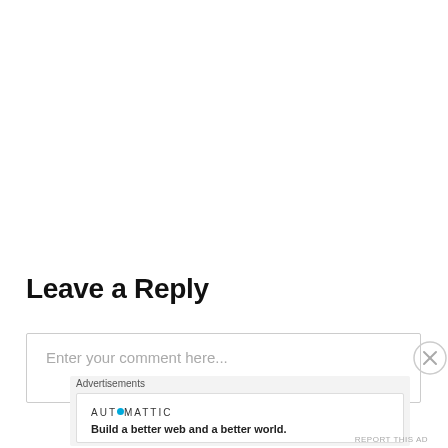Leave a Reply
Enter your comment here...
Advertisements
[Figure (logo): Automattic logo with blue dot replacing one letter 'O']
Build a better web and a better world.
REPORT THIS AD